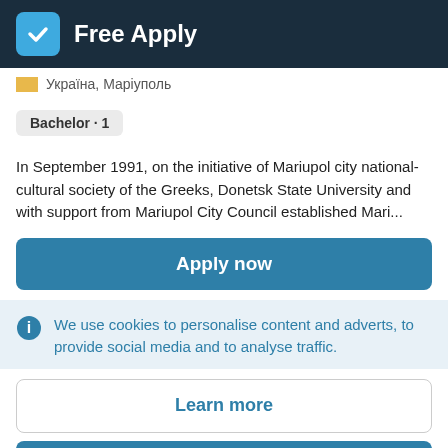Free Apply
Україна, Маріуполь
Bachelor · 1
In September 1991, on the initiative of Mariupol city national-cultural society of the Greeks, Donetsk State University and with support from Mariupol City Council established Mari...
Apply now
We use cookies to personalise content and adverts, to provide social media and to analyse traffic.
Learn more
Accept